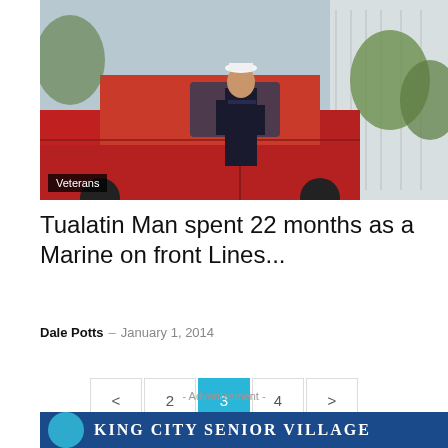[Figure (photo): A man in a sailor/marine uniform standing next to a red car in front of a white house. An old photograph with warm tones. A 'Veterans' label overlay appears in the bottom-left corner of the photo.]
Tualatin Man spent 22 months as a Marine on front Lines...
Dale Potts – January 1, 2014
Pagination: < 2 3 4 >
- Advertisement -
KING CITY SENIOR VILLAGE